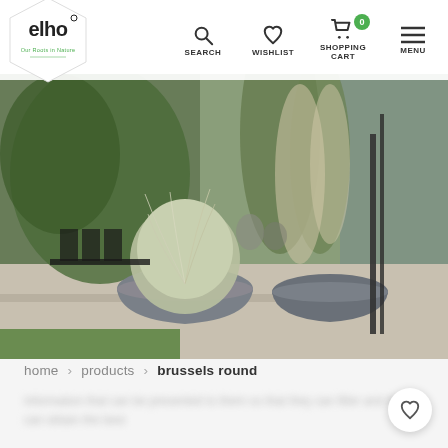[Figure (screenshot): elho website header with logo, search, wishlist, shopping cart (0 items), and menu navigation icons]
[Figure (photo): Outdoor terrace scene with large round grey planters containing ornamental grasses, surrounded by lush green garden and modern architecture]
home > products > brussels round
blurred background text content (partially visible behind breadcrumb area)